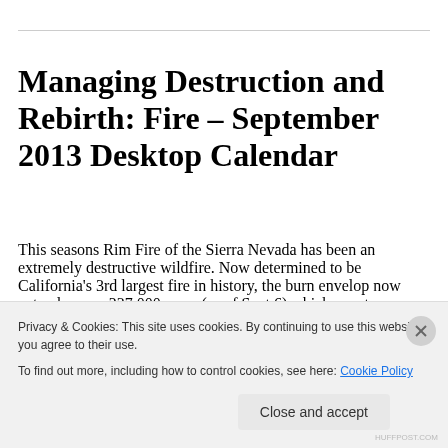Managing Destruction and Rebirth: Fire – September 2013 Desktop Calendar
This seasons Rim Fire of the Sierra Nevada has been an extremely destructive wildfire. Now determined to be California's 3rd largest fire in history, the burn envelop now extends some 237,000 acres (as of Sept 6) which equates to roughly 370 square miles. To put this into perspective...
Privacy & Cookies: This site uses cookies. By continuing to use this website, you agree to their use.
To find out more, including how to control cookies, see here: Cookie Policy